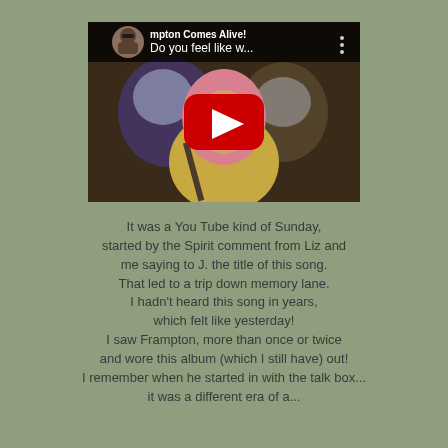[Figure (screenshot): YouTube video thumbnail showing Peter Frampton with pink hair playing guitar, with red YouTube play button overlay. Title reads 'mpton Comes Alive! Do you feel like w...' with a user avatar in the top left corner.]
It was a You Tube kind of Sunday, started by the Spirit comment from Liz and me saying to J. the title of this song. That led to a trip down memory lane. I hadn't heard this song in years, which felt like yesterday! I saw Frampton, more than once or twice and wore this album (which I still have) out! I remember when he started in with the talk box... it was a different era of a...